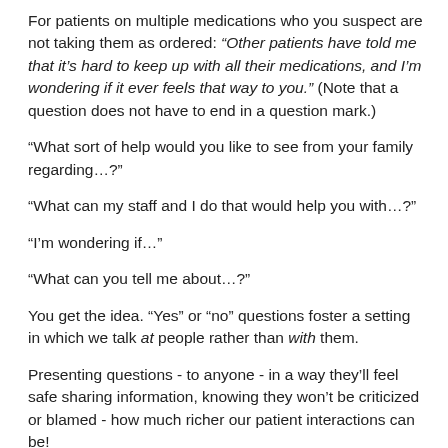For patients on multiple medications who you suspect are not taking them as ordered: “Other patients have told me that it’s hard to keep up with all their medications, and I’m wondering if it ever feels that way to you.” (Note that a question does not have to end in a question mark.)
“What sort of help would you like to see from your family regarding…?”
“What can my staff and I do that would help you with…?”
“I’m wondering if…”
“What can you tell me about…?”
You get the idea. “Yes” or “no” questions foster a setting in which we talk at people rather than with them.
Presenting questions - to anyone - in a way they’ll feel safe sharing information, knowing they won’t be criticized or blamed - how much richer our patient interactions can be!